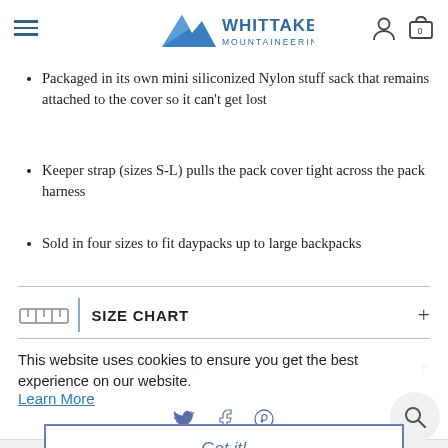Whittaker Mountaineering
Packaged in its own mini siliconized Nylon stuff sack that remains attached to the cover so it can't get lost
Keeper strap (sizes S-L) pulls the pack cover tight across the pack harness
Sold in four sizes to fit daypacks up to large backpacks
SIZE CHART
PRODUCT DETAILS
This website uses cookies to ensure you get the best experience on our website.
Learn More
Got it!